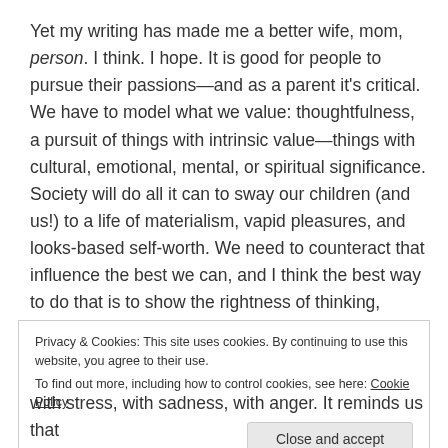Yet my writing has made me a better wife, mom, person. I think. I hope. It is good for people to pursue their passions—and as a parent it's critical. We have to model what we value: thoughtfulness, a pursuit of things with intrinsic value—things with cultural, emotional, mental, or spiritual significance. Society will do all it can to sway our children (and us!) to a life of materialism, vapid pleasures, and looks-based self-worth. We need to counteract that influence the best we can, and I think the best way to do that is to show the rightness of thinking, learning, and expressing.
Privacy & Cookies: This site uses cookies. By continuing to use this website, you agree to their use.
To find out more, including how to control cookies, see here: Cookie Policy
with stress, with sadness, with anger. It reminds us that